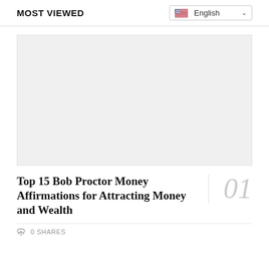MOST VIEWED | English
[Figure (other): Advertisement placeholder image, light gray background rectangle]
Top 15 Bob Proctor Money Affirmations for Attracting Money and Wealth
0 SHARES